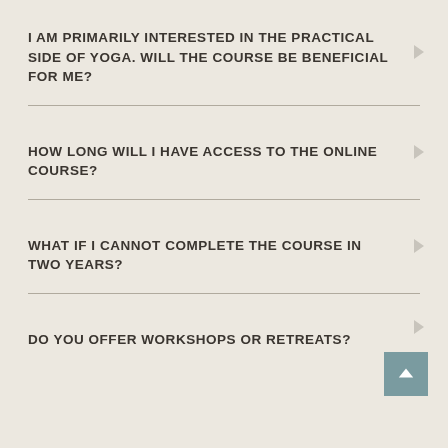I AM PRIMARILY INTERESTED IN THE PRACTICAL SIDE OF YOGA. WILL THE COURSE BE BENEFICIAL FOR ME?
HOW LONG WILL I HAVE ACCESS TO THE ONLINE COURSE?
WHAT IF I CANNOT COMPLETE THE COURSE IN TWO YEARS?
DO YOU OFFER WORKSHOPS OR RETREATS?